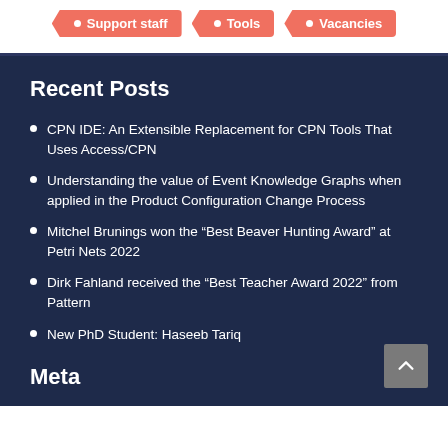Support staff | Tools | Vacancies
Recent Posts
CPN IDE: An Extensible Replacement for CPN Tools That Uses Access/CPN
Understanding the value of Event Knowledge Graphs when applied in the Product Configuration Change Process
Mitchel Brunings won the “Best Beaver Hunting Award” at Petri Nets 2022
Dirk Fahland received the “Best Teacher Award 2022” from Pattern
New PhD Student: Haseeb Tariq
Meta